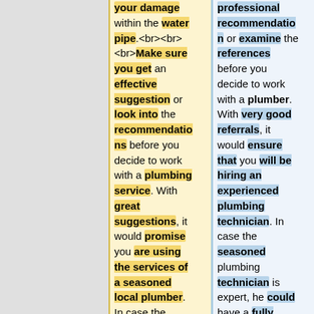your damage within the water pipe.<br><br><br>Make sure you get an effective suggestion or look into the recommendations before you decide to work with a plumbing service. With great suggestions, it would promise you are using the services of a seasoned local plumber. In case the experienced plumbing
professional recommendation or examine the references before you decide to work with a plumber. With very good referrals, it would ensure that you will be hiring an experienced plumbing technician. In case the seasoned plumbing technician is expert, he could have a fully supplied van and also full